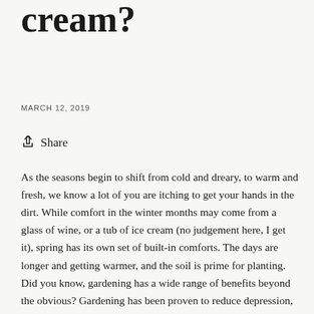Gardening, wine or ice cream?
MARCH 12, 2019
Share
As the seasons begin to shift from cold and dreary, to warm and fresh, we know a lot of you are itching to get your hands in the dirt. While comfort in the winter months may come from a glass of wine, or a tub of ice cream (no judgement here, I get it), spring has its own set of built-in comforts. The days are longer and getting warmer, and the soil is prime for planting. Did you know, gardening has a wide range of benefits beyond the obvious? Gardening has been proven to reduce depression, anxiety and anger. Have you ever been angry while gardening? Probably not. I'd venture to say